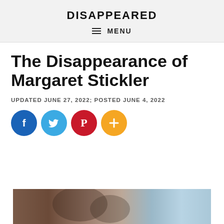DISAPPEARED
≡ MENU
The Disappearance of Margaret Stickler
UPDATED JUNE 27, 2022; POSTED JUNE 4, 2022
[Figure (infographic): Social media share icons: Facebook (blue circle with f), Twitter (light blue circle with bird), Pinterest (red circle with P), More/Add (orange circle with +)]
[Figure (photo): Partial photo at bottom of page, appears to show a person or people, cropped]